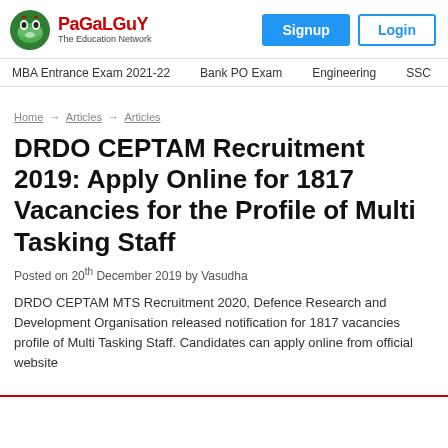PaGaLGuY The Education Network | Signup | Login
MBA Entrance Exam 2021-22 | Bank PO Exam | Engineering | SSC
Home → Articles → Articles
DRDO CEPTAM Recruitment 2019: Apply Online for 1817 Vacancies for the Profile of Multi Tasking Staff
Posted on 20th December 2019 by Vasudha
DRDO CEPTAM MTS Recruitment 2020, Defence Research and Development Organisation released notification for 1817 vacancies profile of Multi Tasking Staff. Candidates can apply online from official website